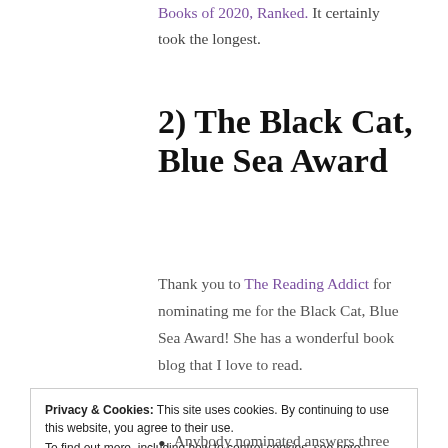Books of 2020, Ranked. It certainly took the longest.
2) The Black Cat, Blue Sea Award
Thank you to The Reading Addict for nominating me for the Black Cat, Blue Sea Award! She has a wonderful book blog that I love to read.
Privacy & Cookies: This site uses cookies. By continuing to use this website, you agree to their use.
To find out more, including how to control cookies, see here: Cookie Policy
Anybody nominated answers three